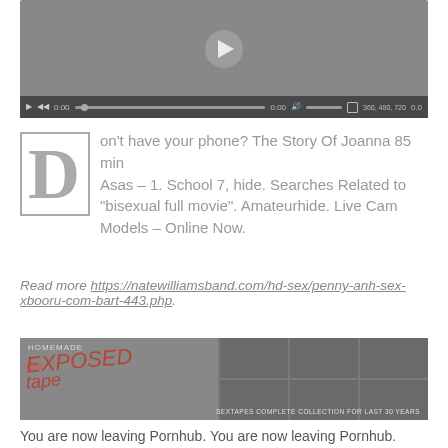[Figure (screenshot): Video player with dark grey background, play button overlay, and controls bar showing time 0:00, progress bar, volume, resolution options 360/480/720]
Don't have your phone? The Story Of Joanna 85 min Asas – 1. School 7, hide. Searches Related to "bisexual full movie". Amateurhide. Live Cam Models – Online Now.
Read more https://natewilliamsband.com/hd-sex/penny-anh-sex-xbooru-com-bart-443.php
[Figure (screenshot): Banner image for 'Homemade Exposed on Tape' with grid of thumbnail images and text 'SEXTAPES COMPLETE COLLECTION FOR LAST 30 YEARS']
You are now leaving Pornhub. You are now leaving Pornhub.